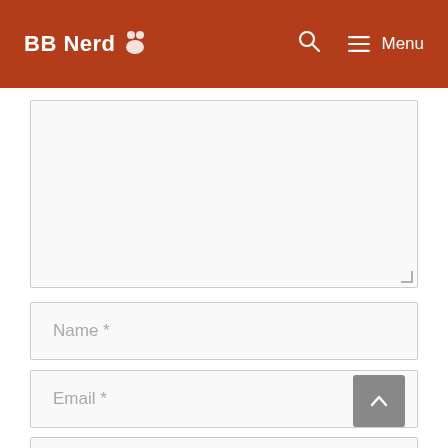BB Nerd 🤼 Menu
[Figure (screenshot): Comment form textarea (empty), large text input area with resize handle at bottom right]
Name *
Email *
Website